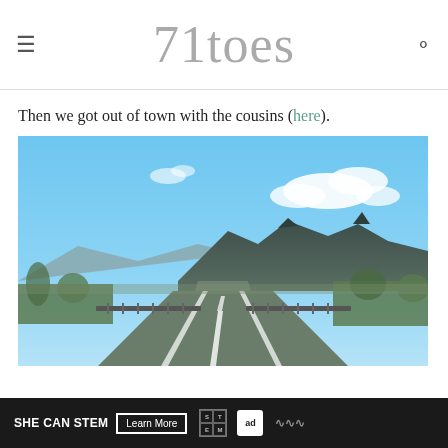71toes
Then we got out of town with the cousins (here).
[Figure (photo): Road trip photo taken from a moving vehicle on a highway heading toward rugged desert mountains under a bright blue sky with white clouds. Scrubby desert vegetation lines both sides of the road.]
SHE CAN STEM  Learn More